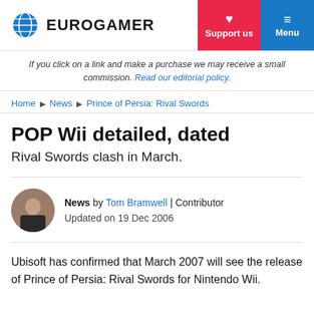EUROGAMER | Support us | Menu
If you click on a link and make a purchase we may receive a small commission. Read our editorial policy.
Home ▶ News ▶ Prince of Persia: Rival Swords
POP Wii detailed, dated
Rival Swords clash in March.
News by Tom Bramwell | Contributor
Updated on 19 Dec 2006
Ubisoft has confirmed that March 2007 will see the release of Prince of Persia: Rival Swords for Nintendo Wii.